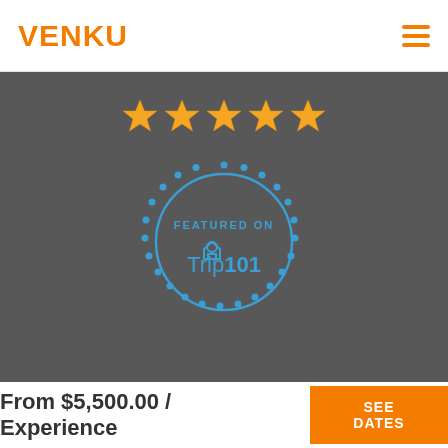VENKU
[Figure (logo): VENKU logo in orange bold text on white header, with orange hamburger menu icon on right]
[Figure (illustration): Dark gray section showing five gold stars at top and a circular blue badge with dotted border reading FEATURED ON Trip101 with house/location icon]
From $5,500.00 / Experience
SEE DATES